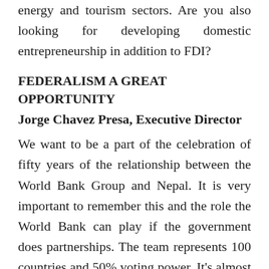energy and tourism sectors. Are you also looking for developing domestic entrepreneurship in addition to FDI?
FEDERALISM A GREAT OPPORTUNITY
Jorge Chavez Presa, Executive Director
We want to be a part of the celebration of fifty years of the relationship between the World Bank Group and Nepal. It is very important to remember this and the role the World Bank can play if the government does partnerships. The team represents 100 countries and 50% voting power. It's almost half a session of the shareholders. What we want to do…